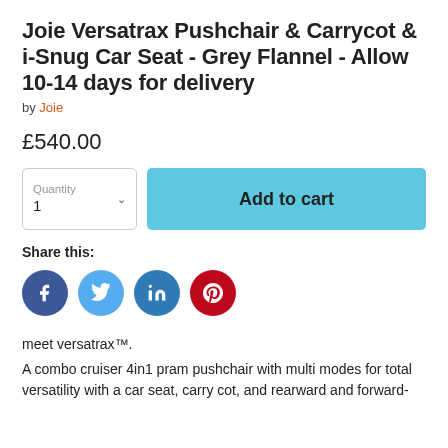Joie Versatrax Pushchair & Carrycot & i-Snug Car Seat - Grey Flannel - Allow 10-14 days for delivery
by Joie
£540.00
[Figure (screenshot): Quantity selector dropdown showing '1' and an Add to cart button in light blue]
Share this:
[Figure (infographic): Social share icons: Facebook, Twitter, LinkedIn, Pinterest]
meet versatrax™.
A combo cruiser 4in1 pram pushchair with multi modes for total versatility with a car seat, carry cot, and rearward and forward-